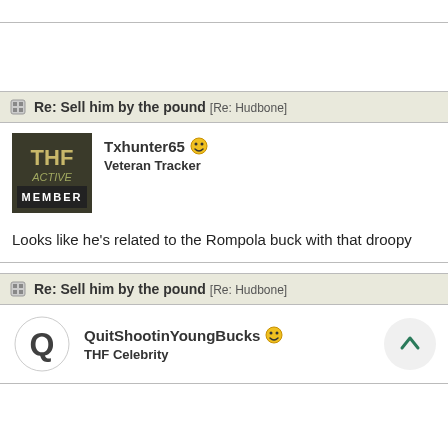Re: Sell him by the pound [Re: Hudbone]
Txhunter65 — Veteran Tracker
Looks like he's related to the Rompola buck with that droopy
Re: Sell him by the pound [Re: Hudbone]
QuitShootinYoungBucks — THF Celebrity